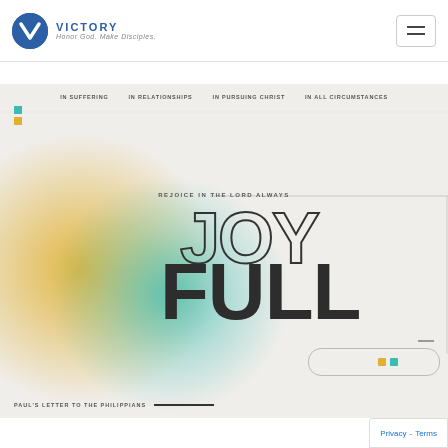[Figure (logo): Victory church logo: blue circle with white V chevron, text VICTORY and tagline Honor God. Make Disciples.]
[Figure (illustration): JoyFull sermon series banner with yellow and teal gradient blobs, text JOY (outlined) over FULL (solid dark), navigation links IN SUFFERING / IN RELATIONSHIPS / IN PURSUING CHRIST / IN ALL CIRCUMSTANCES, subtitle REJOICE IN THE LORD ALWAYS, bottom text PAUL'S LETTER TO THE PHILIPPIANS]
Privacy - Terms